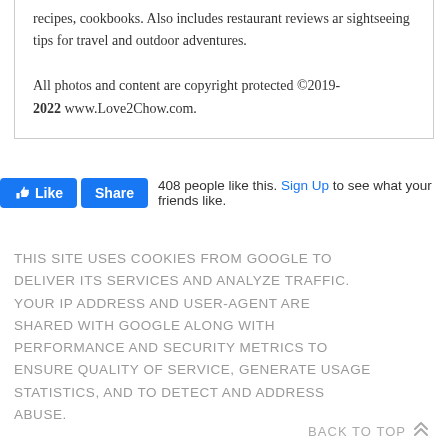recipes, cookbooks. Also includes restaurant reviews and sightseeing tips for travel and outdoor adventures. All photos and content are copyright protected ©2019-2022 www.Love2Chow.com.
[Figure (screenshot): Facebook Like and Share buttons with text '408 people like this. Sign Up to see what your friends like.']
THIS SITE USES COOKIES FROM GOOGLE TO DELIVER ITS SERVICES AND ANALYZE TRAFFIC. YOUR IP ADDRESS AND USER-AGENT ARE SHARED WITH GOOGLE ALONG WITH PERFORMANCE AND SECURITY METRICS TO ENSURE QUALITY OF SERVICE, GENERATE USAGE STATISTICS, AND TO DETECT AND ADDRESS ABUSE.
BACK TO TOP